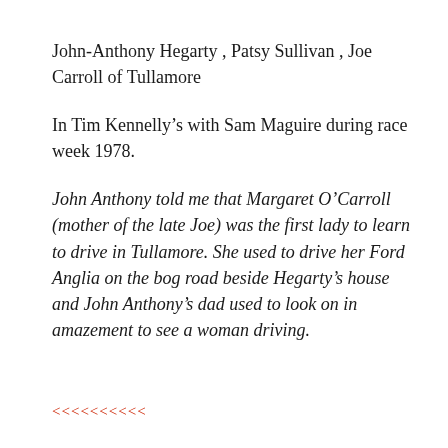John-Anthony Hegarty , Patsy Sullivan , Joe Carroll of Tullamore
In Tim Kennelly's with Sam Maguire during race week 1978.
John Anthony told me that Margaret O'Carroll (mother of the late Joe) was the first lady to learn to drive in Tullamore. She used to drive her Ford Anglia on the bog road beside Hegarty's house and John Anthony's dad used to look on in amazement to see a woman driving.
<<<<<<<<<<